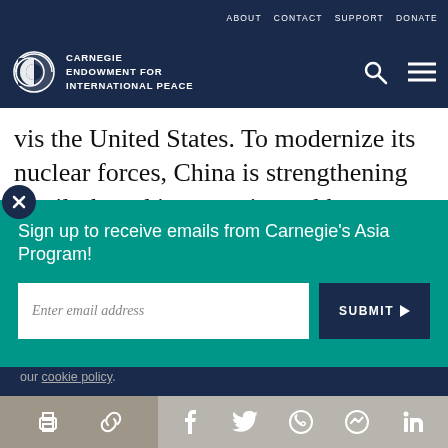ABOUT   CONTACT   SUPPORT   DONATE
[Figure (logo): Carnegie Endowment for International Peace logo with globe icon and white text on dark navy background]
vis the United States. To modernize its nuclear forces, China is strengthening its silo-based intercontinental b... m... s...
[Figure (screenshot): Teal popup overlay with email signup form: 'Sign up to receive emails from Carnegie's Asia Program!' with email input field and SUBMIT button]
our cookie policy.
[Figure (infographic): Bottom social sharing bar with print, link, Facebook, Twitter, WhatsApp, Messenger, and LinkedIn icons on tan/grey background]